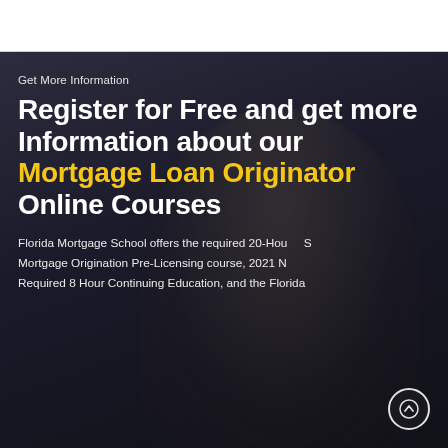Get More Information
Register for Free and get more Information about our Mortgage Loan Originator Online Courses
Florida Mortgage School offers the required 20-Hour SAFE Mortgage Origination Pre-Licensing course, 2021 NMLS Required 8 Hour Continuing Education, and the Florida